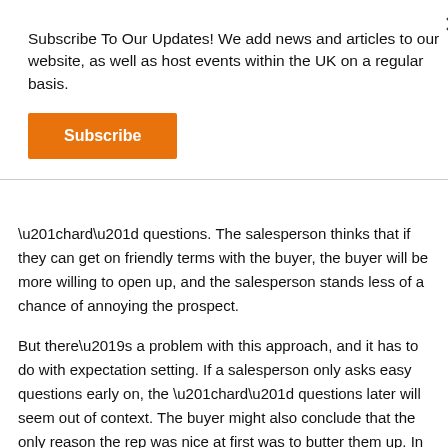Subscribe To Our Updates! We add news and articles to our website, as well as host events within the UK on a regular basis.
Subscribe
“hard” questions. The salesperson thinks that if they can get on friendly terms with the buyer, the buyer will be more willing to open up, and the salesperson stands less of a chance of annoying the prospect.
But there’s a problem with this approach, and it has to do with expectation setting. If a salesperson only asks easy questions early on, the “hard” questions later will seem out of context. The buyer might also conclude that the only reason the rep was nice at first was to butter them up. In other words, the rapport isn’t genuine.
Chat with us now